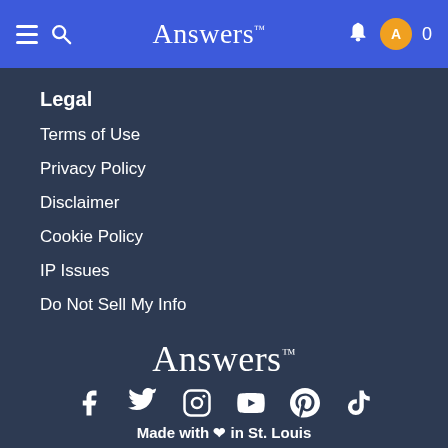Answers
Legal
Terms of Use
Privacy Policy
Disclaimer
Cookie Policy
IP Issues
Do Not Sell My Info
Answers™ — Made with ❤ in St. Louis